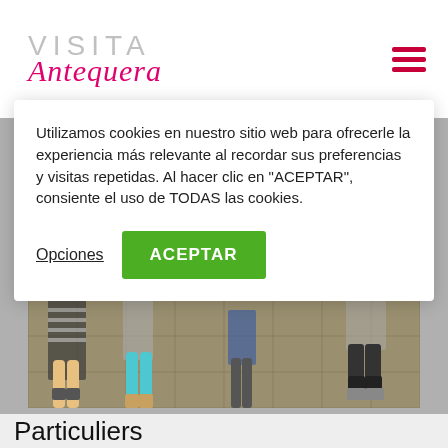VISITA Antequera
Utilizamos cookies en nuestro sitio web para ofrecerle la experiencia más relevante al recordar sus preferencias y visitas repetidas. Al hacer clic en "ACEPTAR", consiente el uso de TODAS las cookies.
Opciones
ACEPTAR
[Figure (photo): People walking on a tiled outdoor plaza, cropped view showing legs and feet]
Particuliers